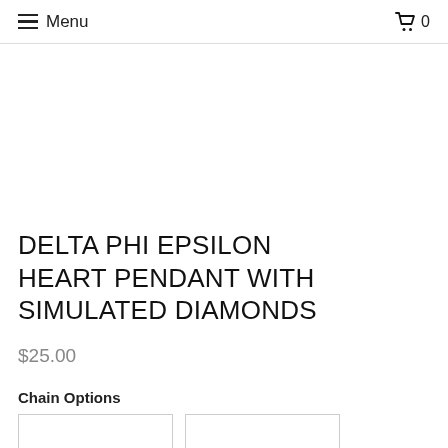Menu  0
DELTA PHI EPSILON HEART PENDANT WITH SIMULATED DIAMONDS
$25.00
Chain Options